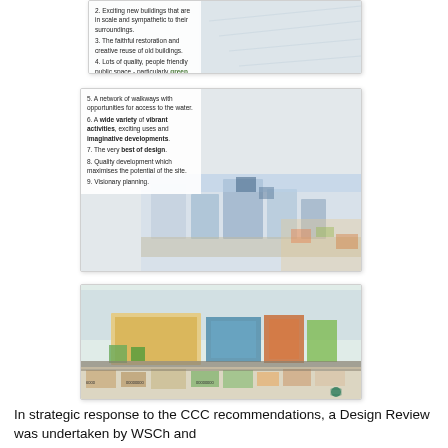[Figure (photo): Top portion of a card/panel showing a numbered list on a document with a faint background sketch. Items 2-4 partially visible: 2. Exciting new buildings that are in scale and sympathetic to their surroundings. 3. The faithful restoration and creative reuse of old buildings. 4. Lots of quality, people friendly public space - particularly green space.]
[Figure (photo): Card/panel showing numbered list items 5-9 on a document with a watercolour architectural sketch of a waterfront development in the lower portion. Items: 5. A network of walkways with opportunities for access to the water. 6. A wide variety of vibrant activities, exciting uses and imaginative developments. 7. The very best of design. 8. Quality development which maximises the potential of the site. 9. Visionary planning.]
[Figure (illustration): Card/panel showing a large colourful architectural plan/illustration of a waterfront development site, shown in aerial perspective with buildings, public spaces, and surrounding urban context.]
In strategic response to the CCC recommendations, a Design Review was undertaken by WSCh and